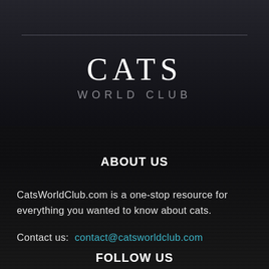CATS WORLD CLUB
ABOUT US
CatsWorldClub.com is a one-stop resource for everything you wanted to know about cats.
Contact us: contact@catsworldclub.com
FOLLOW US